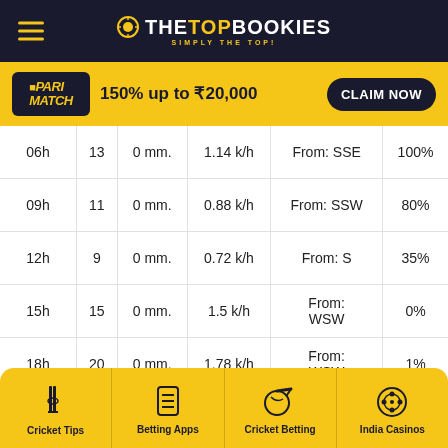THE TOP BOOKIES — SIMPLY THE TOP!
150% up to ₹20,000 — CLAIM NOW (Parimatch)
| Time | Temp | Rain | Wind | Direction | Humidity |
| --- | --- | --- | --- | --- | --- |
| 06h | 13 | 0 mm. | 1.14 k/h | From: SSE | 100% |
| 09h | 11 | 0 mm. | 0.88 k/h | From: SSW | 80% |
| 12h | 9 | 0 mm. | 0.72 k/h | From: S | 35% |
| 15h | 15 | 0 mm. | 1.5 k/h | From: WSW | 0% |
| 18h | 20 | 0 mm. | 1.78 k/h | From: WSW | 1% |
Cricket Tips | Betting Apps | Cricket Betting | India Casinos